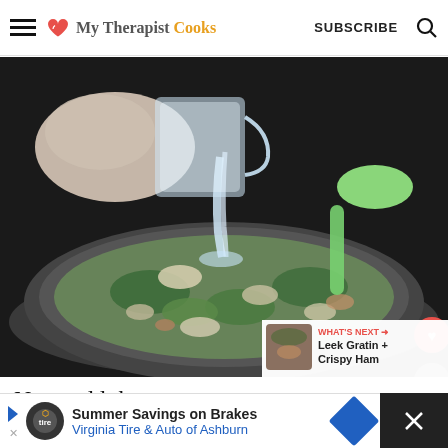My Therapist Cooks  SUBSCRIBE
[Figure (photo): A hand pouring water from a glass measuring cup into a skillet filled with chopped leeks, vegetables, and ham. A light green silicone spoon rests in the pan. The pan sits on a dark electric cooktop.]
Now, add the cream...
Summer Savings on Brakes  Virginia Tire & Auto of Ashburn